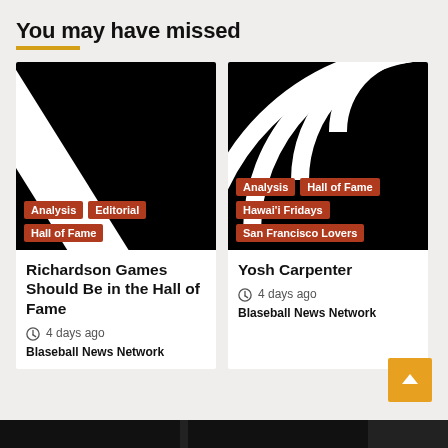You may have missed
[Figure (photo): Black background with a diagonal white beam/stripe, with tags 'Analysis', 'Editorial', 'Hall of Fame' overlaid at bottom left]
[Figure (photo): Black background with concentric white arc rings (wifi/signal style), with tags 'Analysis', 'Hall of Fame', 'Hawai'i Fridays', 'San Francisco Lovers' overlaid at bottom left]
Richardson Games Should Be in the Hall of Fame
4 days ago  Blaseball News Network
Yosh Carpenter
4 days ago  Blaseball News Network